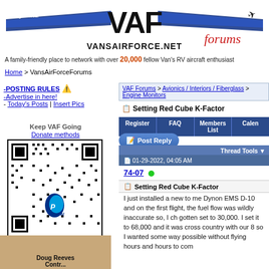[Figure (logo): VAF VansAirForce.net Forums logo with wings, aircraft silhouette, and script 'forums' text]
A family-friendly place to network with over 20,000 fellow Van's RV aircraft enthusiasts
Home > VansAirForceForums
-POSTING RULES ⚠ -Advertise in here! - Today's Posts | Insert Pics
Keep VAF Going
Donate methods
[Figure (other): QR code with PayPal logo for donations]
Point your camera app here to donate fast.
[Figure (photo): Photo of Doug Reeves, partial view showing name]
VAF Forums > Avionics / Interiors / Fiberglass > Engine Monitors
Setting Red Cube K-Factor
Register   FAQ   Members List   Calendar
Post Reply
Thread Tools
01-29-2022, 04:05 AM
74-07
Setting Red Cube K-Factor
I just installed a new to me Dynon EMS D-10 and on the first flight, the fuel flow was wildly inaccurate so, I checked and it had gotten set to 30,000. I set it to 68,000 and it was better. I cross country with our 8 so I wanted some way to calibrate it as possible without flying hours and hours to com